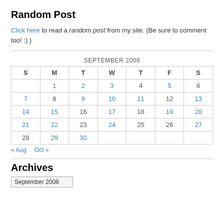Random Post
Click here to read a random post from my site. (Be sure to comment too! :) )
| S | M | T | W | T | F | S |
| --- | --- | --- | --- | --- | --- | --- |
|  | 1 | 2 | 3 | 4 | 5 | 6 |
| 7 | 8 | 9 | 10 | 11 | 12 | 13 |
| 14 | 15 | 16 | 17 | 18 | 19 | 20 |
| 21 | 22 | 23 | 24 | 25 | 26 | 27 |
| 28 | 29 | 30 |  |  |  |  |
« Aug  Oct »
Archives
September 2008